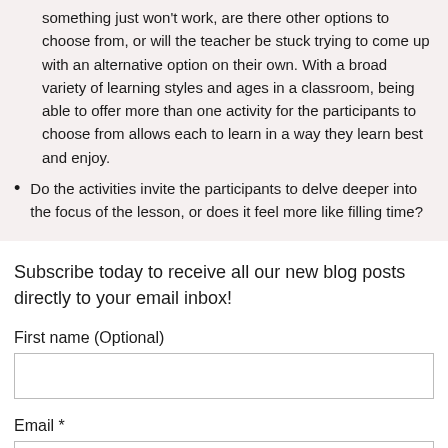something just won't work, are there other options to choose from, or will the teacher be stuck trying to come up with an alternative option on their own. With a broad variety of learning styles and ages in a classroom, being able to offer more than one activity for the participants to choose from allows each to learn in a way they learn best and enjoy.
Do the activities invite the participants to delve deeper into the focus of the lesson, or does it feel more like filling time?
Subscribe today to receive all our new blog posts directly to your email inbox!
First name (Optional)
Email *